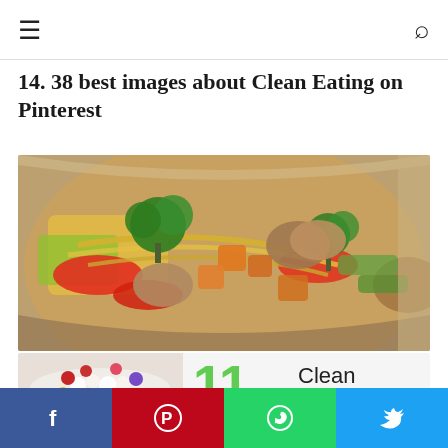≡ [hamburger menu]  [search icon]
14. 38 best images about Clean Eating on Pinterest
[Figure (photo): A metal pan or bowl filled with colorful mixed vegetables including broccoli, red peppers, yellow squash/zucchini shreds, mushrooms, orange cubed vegetables, and green herbs — a stir-fry or roasted vegetable dish.]
[Figure (photo): Bottom composite image showing on left: a bowl of cottage cheese with berries (raspberries, blueberries, strawberries, corn). On right: promotional graphic with large green number '11' and the text 'Clean Eating' in thin sans-serif font.]
Facebook | Pinterest | WhatsApp | Twitter social share buttons